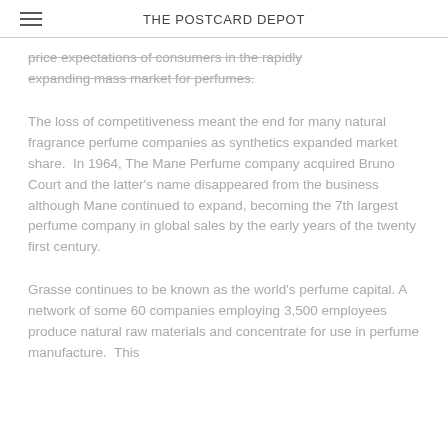THE POSTCARD DEPOT
price expectations of consumers in the rapidly expanding mass market for perfumes.
The loss of competitiveness meant the end for many natural fragrance perfume companies as synthetics expanded market share.  In 1964, The Mane Perfume company acquired Bruno Court and the latter's name disappeared from the business although Mane continued to expand, becoming the 7th largest perfume company in global sales by the early years of the twenty first century.
Grasse continues to be known as the world's perfume capital. A network of some 60 companies employing 3,500 employees produce natural raw materials and concentrate for use in perfume manufacture.  This